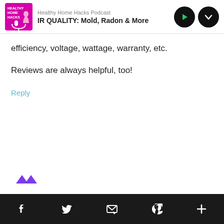[Figure (screenshot): Podcast player header bar showing Healthy Home Hacks Podcast with episode title 'IR QUALITY: Mold, Radon & More', play button and dropdown button]
efficiency, voltage, wattage, warranty, etc.
Reviews are always helpful, too!
Reply
[Figure (other): Small purple avatar/icon at bottom left]
Social share bar with Facebook, Twitter, Email, Pinterest, and plus icons